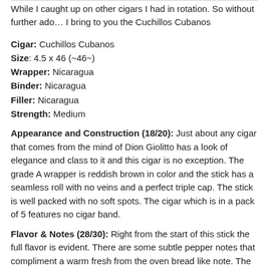While I caught up on other cigars I had in rotation. So without further ado… I bring to you the Cuchillos Cubanos
Cigar: Cuchillos Cubanos
Size: 4.5 x 46 (~46~)
Wrapper: Nicaragua
Binder: Nicaragua
Filler: Nicaragua
Strength: Medium
Appearance and Construction (18/20): Just about any cigar that comes from the mind of Dion Giolitto has a look of elegance and class to it and this cigar is no exception. The grade A wrapper is reddish brown in color and the stick has a seamless roll with no veins and a perfect triple cap. The stick is well packed with no soft spots. The cigar which is in a pack of 5 features no cigar band.
Flavor & Notes (28/30): Right from the start of this stick the full flavor is evident. There are some subtle pepper notes that compliment a warm fresh from the oven bread like note. The warm bread notes continue right into the second third of this delicious stick and is joined by some marshmallows and cocoa notes as well. This stick would be heaven to